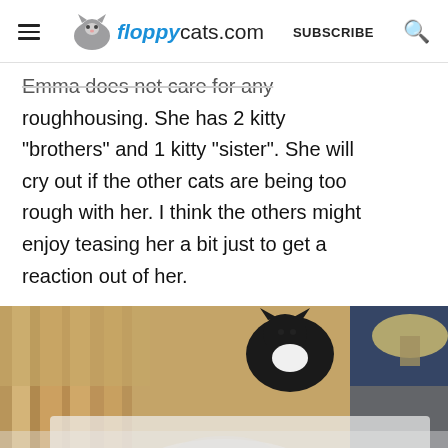floppycats.com — SUBSCRIBE
Emma does not care for any roughhousing. She has 2 kitty “brothers” and 1 kitty “sister”. She will cry out if the other cats are being too rough with her. I think the others might enjoy teasing her a bit just to get a reaction out of her.
[Figure (photo): A black and white cat sitting or perched, partially visible, photographed indoors near wooden furniture and a lamp. The top portion shows a dark cat against a blue background with a lamp shade visible; the bottom portion is blurred white fur.]